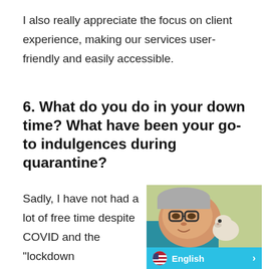I also really appreciate the focus on client experience, making our services user-friendly and easily accessible.
6. What do you do in your down time? What have been your go-to indulgences during quarantine?
Sadly, I have not had a lot of free time despite COVID and the "lockdown
[Figure (photo): A man with glasses lying down next to a small dog or pet. A language selector bar showing 'English' with a US flag and a right arrow chevron appears at the bottom of the photo.]